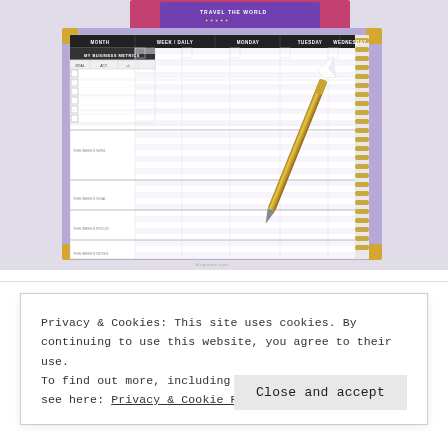[Figure (photo): Photograph of an open spiral-bound weekly planner with purple cover and gold corners. The planner shows a weekly layout with columns for different days and rows for scheduling. A gold pen with a diamond-shaped topper rests diagonally across the planner pages. In the background are colorful cards including one that reads TRAVEL THE WORLD.]
Privacy & Cookies: This site uses cookies. By continuing to use this website, you agree to their use.
To find out more, including how to control cookies, see here: Privacy & Cookie Policy
Close and accept